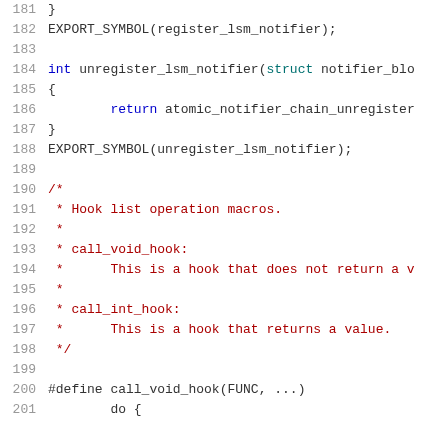Source code listing, lines 181-201, C kernel code with LSM notifier functions and hook macros